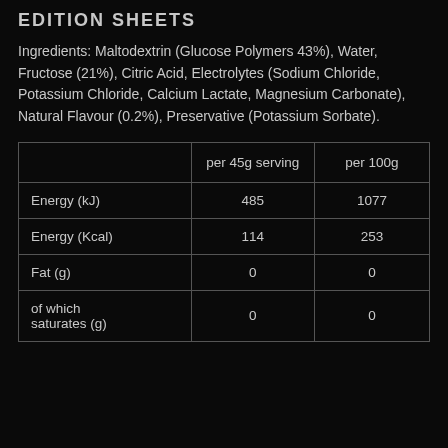EDITION SHEETS
Ingredients: Maltodextrin (Glucose Polymers 43%), Water, Fructose (21%), Citric Acid, Electrolytes (Sodium Chloride, Potassium Chloride, Calcium Lactate, Magnesium Carbonate), Natural Flavour (0.2%), Preservative (Potassium Sorbate).
|  | per 45g serving | per 100g |
| --- | --- | --- |
| Energy (kJ) | 485 | 1077 |
| Energy (Kcal) | 114 | 253 |
| Fat (g) | 0 | 0 |
| of which saturates (g) | 0 | 0 |